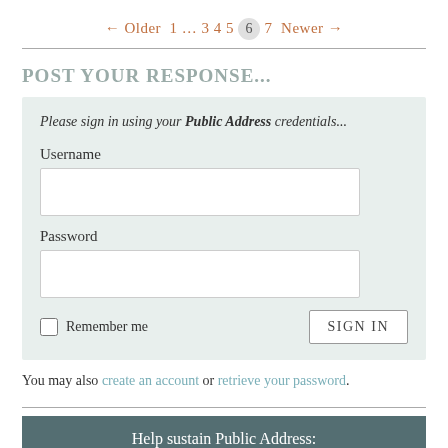← Older 1 … 3 4 5 6 7 Newer →
POST YOUR RESPONSE...
Please sign in using your Public Address credentials...
Username
Password
Remember me
You may also create an account or retrieve your password.
Help sustain Public Address: BECOME A SUPPORTER